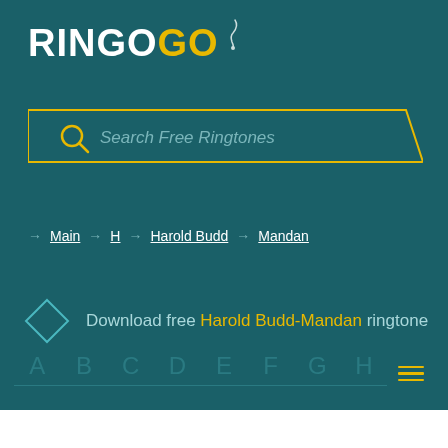RINGOGO
Search Free Ringtones
→ Main → H → Harold Budd → Mandan
Download free Harold Budd-Mandan ringtone
A B C D E F G H ≡